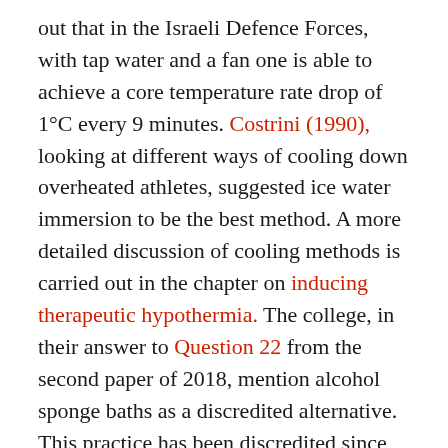out that in the Israeli Defence Forces, with tap water and a fan one is able to achieve a core temperature rate drop of 1°C every 9 minutes. Costrini (1990), looking at different ways of cooling down overheated athletes, suggested ice water immersion to be the best method. A more detailed discussion of cooling methods is carried out in the chapter on inducing therapeutic hypothermia. The college, in their answer to Question 22 from the second paper of 2018, mention alcohol sponge baths as a discredited alternative. This practice has been discredited since the 1960s, when it killed children (Senz et al, 1959) and adults (Wise, 1969) by producing a surprising amount of alcohol absorption (they were using mainly isopropyl "rubbing" alcohol). On the other hand, if your objective is to achieve heroic levels of intoxication, percutaneous obsorption is a valid method (Puschel et al, 1981).
A word about dantrolene in heat stroke